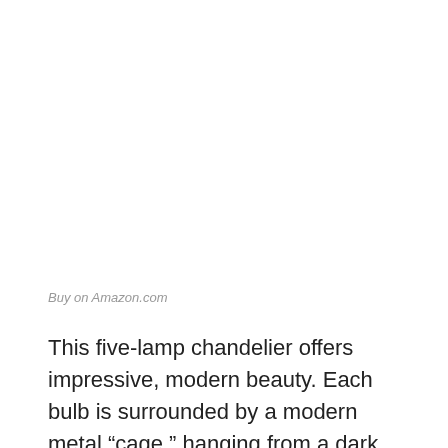Buy on Amazon.com
This five-lamp chandelier offers impressive, modern beauty. Each bulb is surrounded by a modern metal “cage,” hanging from a dark metal rod. Two sleeker metal rods connect the lamp to the ceiling. The entire design has a vintage feeling but still looks